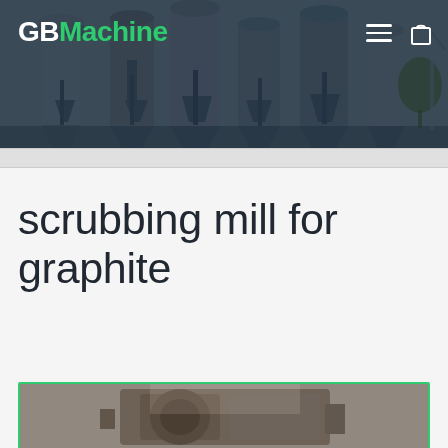[Figure (photo): Industrial machinery / dust collector facility hero image with dark blue-grey toned background showing large cylindrical silos and processing equipment]
GBMachine
scrubbing mill for graphite
[Figure (photo): Partial view of scrubbing mill machinery for graphite processing, shown inside a white card container with green border]